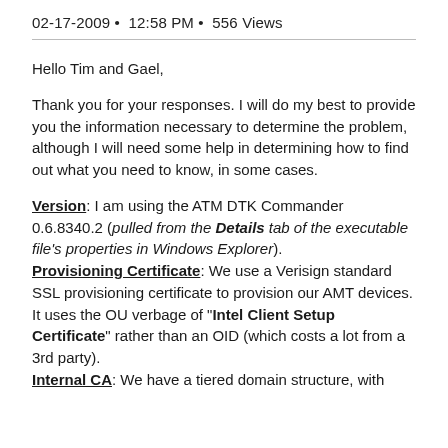02-17-2009 • 12:58 PM • 556 Views
Hello Tim and Gael,
Thank you for your responses. I will do my best to provide you the information necessary to determine the problem, although I will need some help in determining how to find out what you need to know, in some cases.
Version: I am using the ATM DTK Commander 0.6.8340.2 (pulled from the Details tab of the executable file's properties in Windows Explorer). Provisioning Certificate: We use a Verisign standard SSL provisioning certificate to provision our AMT devices. It uses the OU verbage of "Intel Client Setup Certificate" rather than an OID (which costs a lot from a 3rd party). Internal CA: We have a tiered domain structure, with